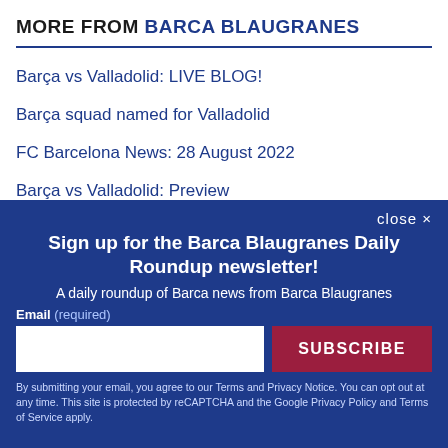MORE FROM BARCA BLAUGRANES
Barça vs Valladolid: LIVE BLOG!
Barça squad named for Valladolid
FC Barcelona News: 28 August 2022
Barça vs Valladolid: Preview
close ×
Sign up for the Barca Blaugranes Daily Roundup newsletter!
A daily roundup of Barca news from Barca Blaugranes
Email (required)
SUBSCRIBE
By submitting your email, you agree to our Terms and Privacy Notice. You can opt out at any time. This site is protected by reCAPTCHA and the Google Privacy Policy and Terms of Service apply.